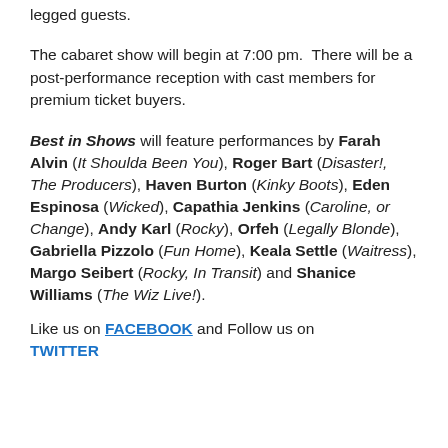legged guests.
The cabaret show will begin at 7:00 pm.  There will be a post-performance reception with cast members for premium ticket buyers.
Best in Shows will feature performances by Farah Alvin (It Shoulda Been You), Roger Bart (Disaster!, The Producers), Haven Burton (Kinky Boots), Eden Espinosa (Wicked), Capathia Jenkins (Caroline, or Change), Andy Karl (Rocky), Orfeh (Legally Blonde), Gabriella Pizzolo (Fun Home), Keala Settle (Waitress), Margo Seibert (Rocky, In Transit) and Shanice Williams (The Wiz Live!).
Like us on FACEBOOK and Follow us on TWITTER